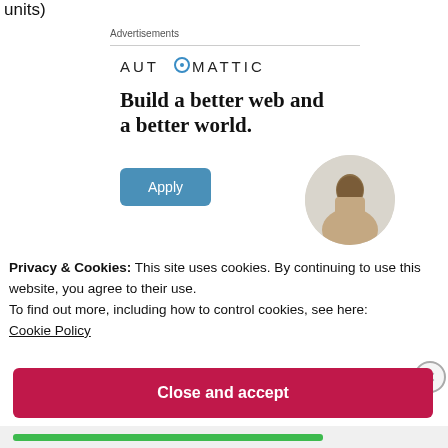units)
Advertisements
[Figure (logo): Automattic logo with circular blue icon replacing the letter O]
Build a better web and a better world.
[Figure (photo): Person looking upward, circular cropped photo]
Privacy & Cookies: This site uses cookies. By continuing to use this website, you agree to their use.
To find out more, including how to control cookies, see here: Cookie Policy
Close and accept